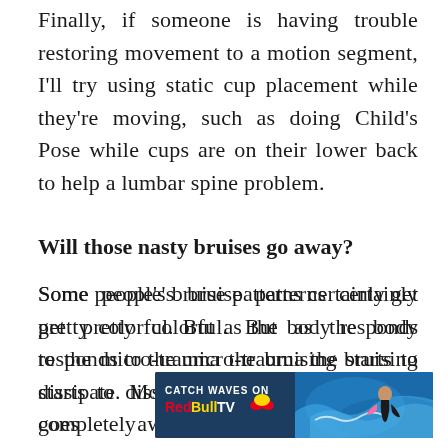Finally, if someone is having trouble restoring movement to a motion segment, I'll try using static cup placement while they're moving, such as doing Child's Pose while cups are on their lower back to help a lumbar spine problem.
Will those nasty bruises go away?
Some people's bruise patterns certainly get pretty colorful. But as the body responds to the micro-trauma the bruising starts to dissipate. Most athletes find it goes away completely in three to five days, depending on the individual physiology and physical activity levels.
[Figure (other): Advertisement banner for Red Bull TV with 'CATCH WAVES ON Red Bull TV' text and a surfer image on the right side]